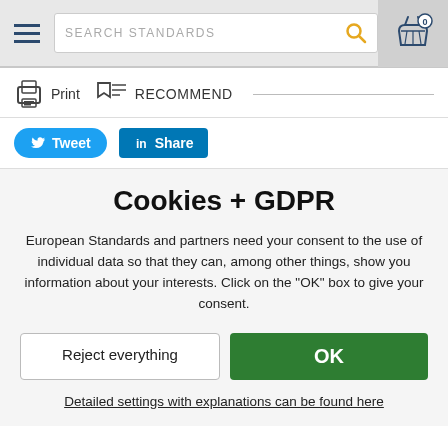[Figure (screenshot): Navigation bar with hamburger menu, search box labeled SEARCH STANDARDS with magnifying glass icon, and shopping cart icon with 0 badge]
[Figure (screenshot): Toolbar with Print icon and label, Recommend icon and label, horizontal separator line]
[Figure (screenshot): Social sharing buttons: Tweet (Twitter/blue rounded) and Share (LinkedIn/blue square)]
Cookies + GDPR
European Standards and partners need your consent to the use of individual data so that they can, among other things, show you information about your interests. Click on the "OK" box to give your consent.
Reject everything
OK
Detailed settings with explanations can be found here